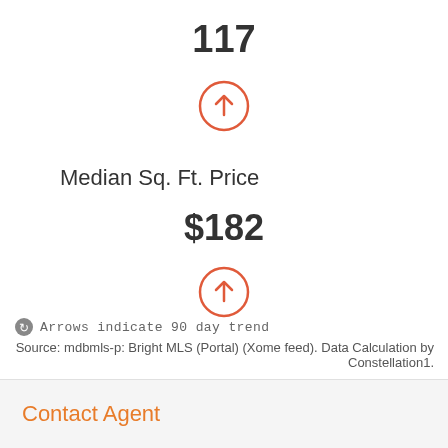117
[Figure (infographic): Red circle with upward arrow indicating 90 day trend]
Median Sq. Ft. Price
$182
[Figure (infographic): Red circle with upward arrow indicating 90 day trend]
Arrows indicate 90 day trend
Source: mdbmls-p: Bright MLS (Portal) (Xome feed). Data Calculation by Constellation1.
Contact Agent